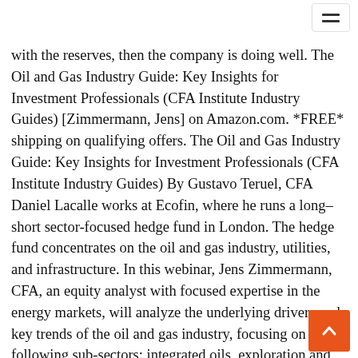with the reserves, then the company is doing well. The Oil and Gas Industry Guide: Key Insights for Investment Professionals (CFA Institute Industry Guides) [Zimmermann, Jens] on Amazon.com. *FREE* shipping on qualifying offers. The Oil and Gas Industry Guide: Key Insights for Investment Professionals (CFA Institute Industry Guides) By Gustavo Teruel, CFA Daniel Lacalle works at Ecofin, where he runs a long–short sector-focused hedge fund in London. The hedge fund concentrates on the oil and gas industry, utilities, and infrastructure. In this webinar, Jens Zimmermann, CFA, an equity analyst with focused expertise in the energy markets, will analyze the underlying drivers and key trends of the oil and gas industry, focusing on the following sub-sectors: integrated oils, exploration and production, refining and marketing, and oil services. Utilities (e.g., Oil & Gas, Energy) jobs. 1 United Arab Emirates job to view and apply for now with CFA Institute Career Center We use cookies to give you the best possible experience. By using our site you're accepting our Cookie Policy